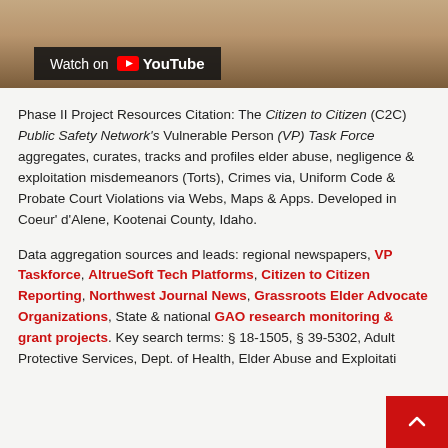[Figure (screenshot): YouTube video thumbnail with 'Watch on YouTube' banner overlay at bottom-left. Dark semi-transparent background with YouTube logo and text.]
Phase II Project Resources Citation: The Citizen to Citizen (C2C) Public Safety Network's Vulnerable Person (VP) Task Force aggregates, curates, tracks and profiles elder abuse, negligence & exploitation misdemeanors (Torts), Crimes via, Uniform Code & Probate Court Violations via Webs, Maps & Apps. Developed in Coeur' d'Alene, Kootenai County, Idaho.
Data aggregation sources and leads: regional newspapers, VP Taskforce, AltrueSoft Tech Platforms, Citizen to Citizen Reporting, Northwest Journal News, Grassroots Elder Advocate Organizations, State & national GAO research monitoring & grant projects. Key search terms: § 18-1505, § 39-5302, Adult Protective Services, Dept. of Health, Elder Abuse and Exploitation, aggregated &